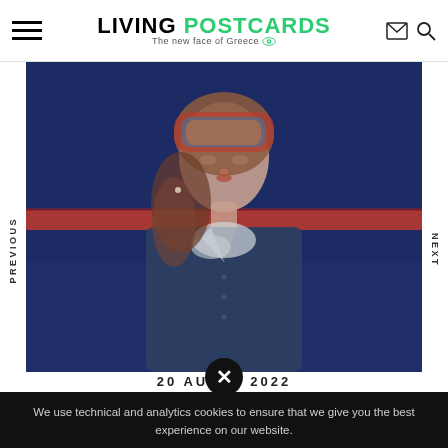LIVING POSTCARDS — The new face of Greece
[Figure (photo): Woman wearing a headscarf and dark shirt, photographed in front of a dark blue train or wall with a red stripe. The image is a fashion/lifestyle photograph.]
20 AU 2022
We use technical and analytics cookies to ensure that we give you the best experience on our website.
Accept & Close
More Info